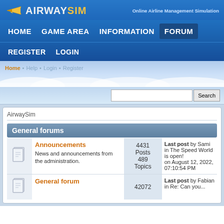AIRWAYSIM - Online Airline Management Simulation
HOME   GAME AREA   INFORMATION   FORUM
REGISTER   LOGIN
Home  Help  Login  Register
Search
AirwaySim
General forums
|  | Forum | Stats | Last post |
| --- | --- | --- | --- |
| [icon] | Announcements
News and announcements from the administration. | 4431 Posts
489 Topics | Last post by Sami
in The Speed World is open!
on August 12, 2022, 07:10:54 PM |
| [icon] | General forum | 42072 | Last post by Fabian
in Re: Can you... |